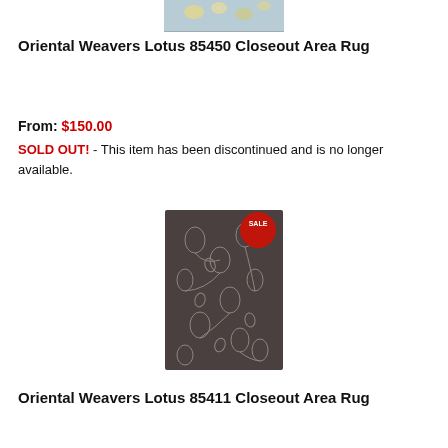[Figure (photo): Partial image of a floral area rug with light blue/cream background shown at top of page (cropped)]
Oriental Weavers Lotus 85450 Closeout Area Rug
From: $150.00
SOLD OUT! - This item has been discontinued and is no longer available.
[Figure (photo): Dark brown/grey floral area rug with white leaf/flower pattern, showing a red SALE badge in upper right corner]
Oriental Weavers Lotus 85411 Closeout Area Rug